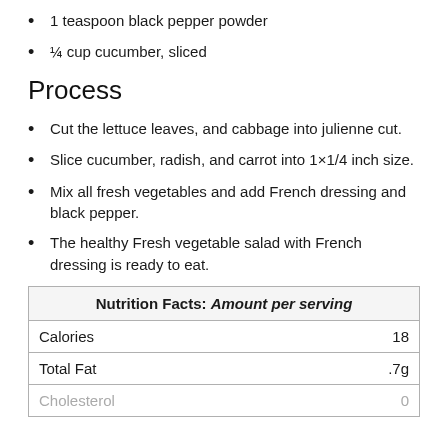1 teaspoon black pepper powder
¼ cup cucumber, sliced
Process
Cut the lettuce leaves, and cabbage into julienne cut.
Slice cucumber, radish, and carrot into 1×1/4 inch size.
Mix all fresh vegetables and add French dressing and black pepper.
The healthy Fresh vegetable salad with French dressing is ready to eat.
| Nutrition Facts: Amount per serving |  |
| --- | --- |
| Calories | 18 |
| Total Fat | .7g |
| Cholesterol | 0 |